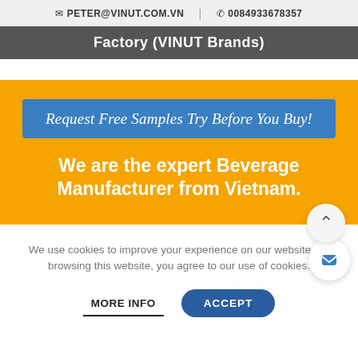PETER@VINUT.COM.VN | 0084933678357
Factory (VINUT Brands)
Request Free Samples Try Before You Buy!
We are the expert Beverage Manufacturer from Vietnam.
We use cookies to improve your experience on our website. By browsing this website, you agree to our use of cookies.
MORE INFO   ACCEPT